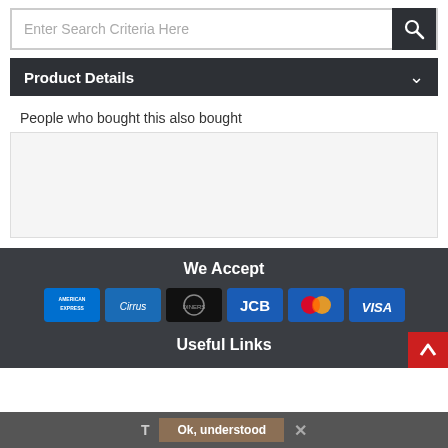[Figure (screenshot): Search bar with placeholder text 'Enter Search Criteria Here' and a dark search button with magnifying glass icon]
Product Details
People who bought this also bought
[Figure (screenshot): Empty white/light gray content area for product recommendations]
We Accept
[Figure (infographic): Payment method icons: American Express, Cirrus, Diners Club, JCB, MasterCard, Visa]
Useful Links
T  Ok, understood  ×